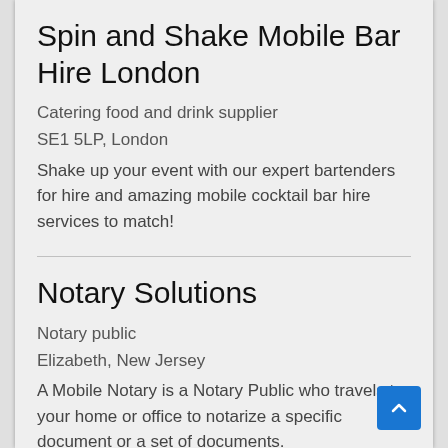Spin and Shake Mobile Bar Hire London
Catering food and drink supplier
SE1 5LP, London
Shake up your event with our expert bartenders for hire and amazing mobile cocktail bar hire services to match!
Notary Solutions
Notary public
Elizabeth, New Jersey
A Mobile Notary is a Notary Public who travels to your home or office to notarize a specific document or a set of documents.